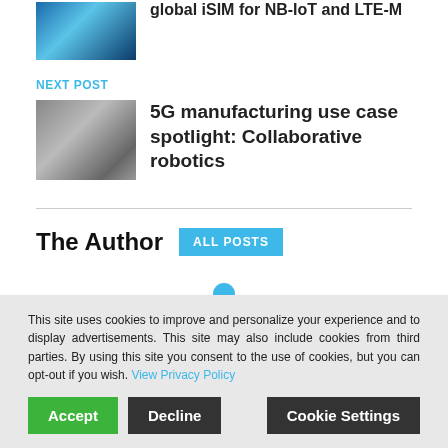[Figure (photo): Blue technology circuit board image for previous post thumbnail]
global iSIM for NB-IoT and LTE-M
NEXT POST
[Figure (photo): Robotics/manufacturing machinery image for next post thumbnail]
5G manufacturing use case spotlight: Collaborative robotics
The Author
ALL POSTS
[Figure (illustration): Generic user/person avatar icon in blue]
Catherine Sbeglia
This site uses cookies to improve and personalize your experience and to display advertisements. This site may also include cookies from third parties. By using this site you consent to the use of cookies, but you can opt-out if you wish. View Privacy Policy
Accept
Decline
Cookie Settings